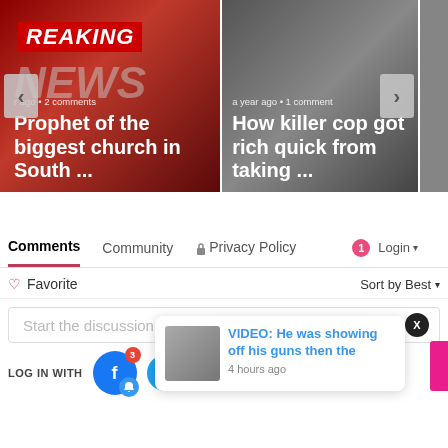[Figure (screenshot): News carousel with two article cards. Left card: red breaking news background with headline 'Prophet of the biggest church in South ...' and meta '... ago • 2 comments'. Right card: dark background with headline 'How killer cop got rich quick from taking ...' and meta 'a year ago • 1 comment'. Navigation arrows on sides.]
Comments   Community   🔒 Privacy Policy   🔴1  Login ▾
♡ Favorite   Sort by Best ▾
Start the discussion…
LOG IN WITH
[Figure (screenshot): Notification popup showing thumbnail image and text: 'VIDEO: He was showing off his guns then the' with timestamp '4 hours ago']